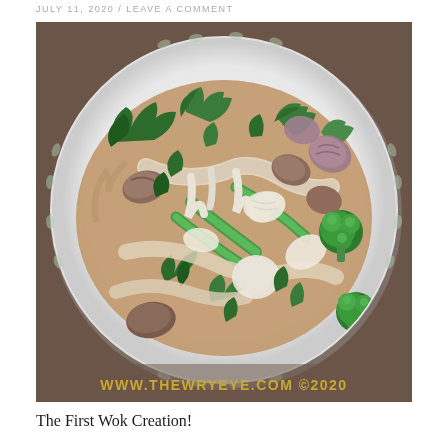JULY 11, 2020 / LEAVE A COMMENT
[Figure (photo): Overhead photo of a white decorative plate with a stir-fried vegetable dish containing bok choy, broccoli, mushrooms, snap peas, onions and other vegetables in a brown sauce. A watermark at the bottom of the image reads: WWW.THEWRYEYE.COM ©2020]
The First Wok Creation!